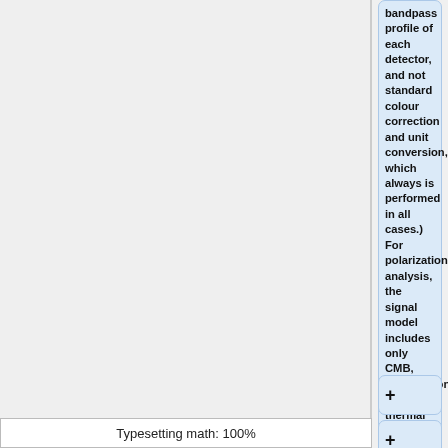bandpass profile of each detector, and not standard colour correction and unit conversion, which always is performed in all cases.) For polarization analysis, the signal model includes only CMB, synchrotron and thermal dust emission.
+
+
A major
Typesetting math: 100%